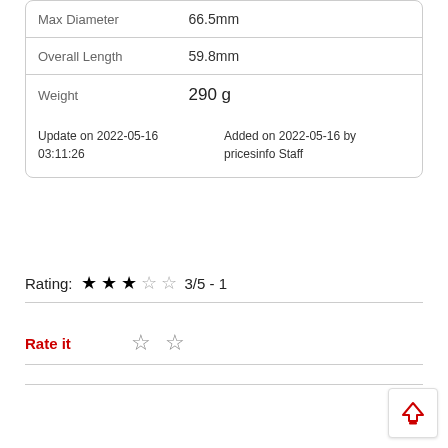| Property | Value |
| --- | --- |
| Max Diameter | 66.5mm |
| Overall Length | 59.8mm |
| Weight | 290 g |
Update on 2022-05-16 03:11:26
Added on 2022-05-16 by pricesinfo Staff
Rating: ★★★☆☆ 3/5 - 1
Rate it ☆ ☆